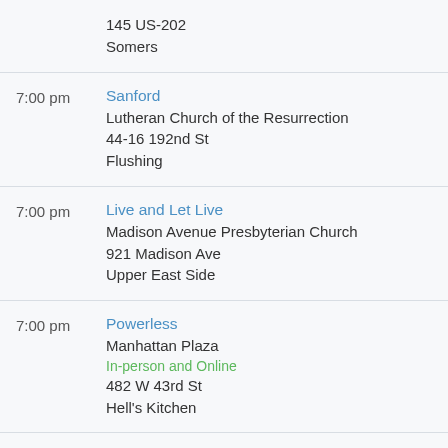145 US-202
Somers
7:00 pm | Sanford | Lutheran Church of the Resurrection | 44-16 192nd St | Flushing
7:00 pm | Live and Let Live | Madison Avenue Presbyterian Church | 921 Madison Ave | Upper East Side
7:00 pm | Powerless | Manhattan Plaza | In-person and Online | 482 W 43rd St | Hell's Kitchen
7:00 pm | Patterson | Patterson Baptist Church | In-person and Online